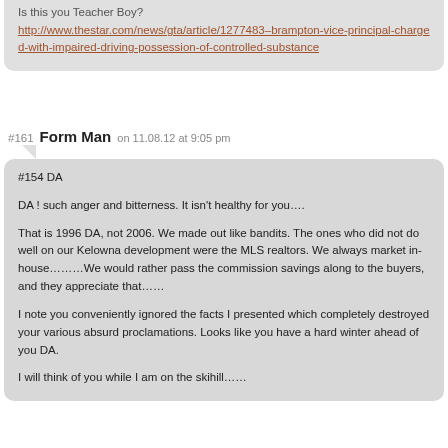Is this you Teacher Boy?
http://www.thestar.com/news/gta/article/1277483–brampton-vice-principal-charged-with-impaired-driving-possession-of-controlled-substance
#161   Form Man   on 11.08.12 at 9:05 pm
#154 DA

DA ! such anger and bitterness. It isn't healthy for you….

That is 1996 DA, not 2006. We made out like bandits. The ones who did not do well on our Kelowna development were the MLS realtors. We always market in-house………We would rather pass the commission savings along to the buyers, and they appreciate that……

I note you conveniently ignored the facts I presented which completely destroyed your various absurd proclamations. Looks like you have a hard winter ahead of you DA.

I will think of you while I am on the skihill……